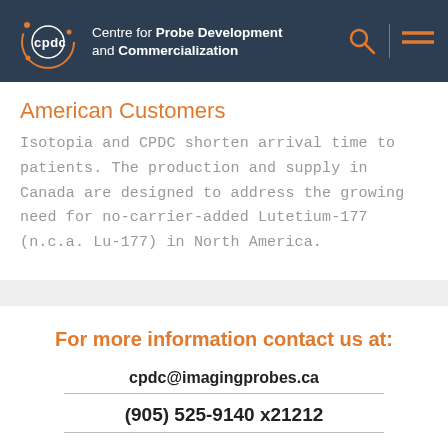Centre for Probe Development and Commercialization
American Customers
Isotopia and CPDC shorten arrival time to patients. The production and supply in Canada are designed to address the growing need for no-carrier-added Lutetium-177 (n.c.a. Lu-177) in North America.
For more information contact us at:
cpdc@imagingprobes.ca
(905) 525-9140 x21212